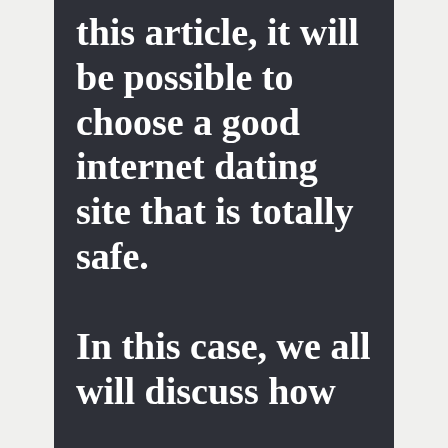this article, it will be possible to choose a good internet dating site that is totally safe.

In this case, we all will discuss how